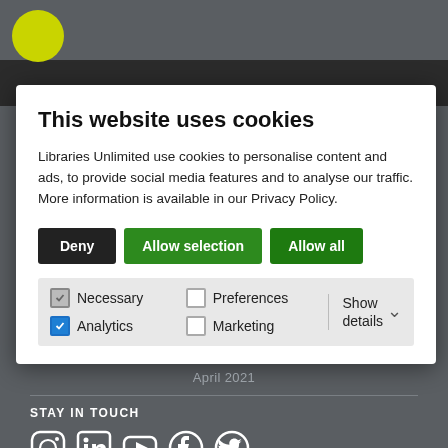[Figure (screenshot): Website background with dark gray footer area, dark top navigation bar, and partial yellow logo circle in top-left corner]
This website uses cookies
Libraries Unlimited use cookies to personalise content and ads, to provide social media features and to analyse our traffic. More information is available in our Privacy Policy.
Deny | Allow selection | Allow all
Necessary  Preferences  Analytics  Marketing  Show details
April 2021
STAY IN TOUCH
[Figure (illustration): Social media icons: Instagram, LinkedIn, YouTube, Facebook, Twitter]